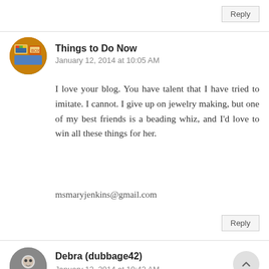Reply
Things to Do Now
January 12, 2014 at 10:05 AM
I love your blog. You have talent that I have tried to imitate. I cannot. I give up on jewelry making, but one of my best friends is a beading whiz, and I'd love to win all these things for her.
msmaryjenkins@gmail.com
Reply
Debra (dubbage42)
January 12, 2014 at 10:42 AM
Congratulations on your "blogaversery" (is that a word?)! This is my first time seeing your blog - I'm